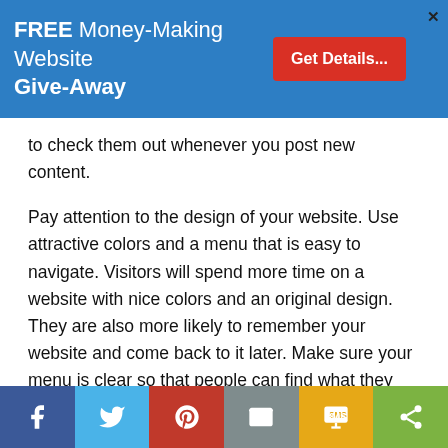[Figure (screenshot): Blue banner advertisement: FREE Money-Making Website Give-Away with red Get Details button and X close button]
to check them out whenever you post new content.
Pay attention to the design of your website. Use attractive colors and a menu that is easy to navigate. Visitors will spend more time on a website with nice colors and an original design. They are also more likely to remember your website and come back to it later. Make sure your menu is clear so that people can find what they want without getting frustrated.
Consider starting some sort of membership program for your website. This is a great internet marketing strategy that will attract more people to your site. You can offer special deals, free deals and members only newsletters. You want to get their email address so you can follow up with any potential
[Figure (screenshot): Social share bar with Facebook, Twitter, Pinterest, Email, SMS, and Share buttons]